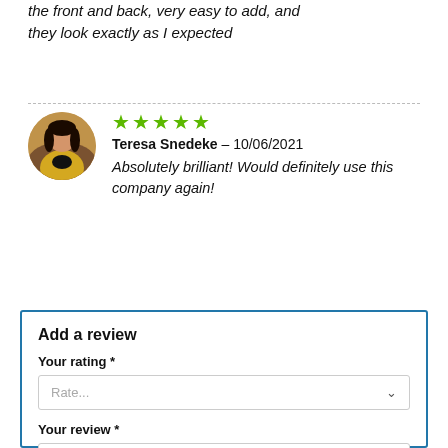the front and back, very easy to add, and they look exactly as I expected
[Figure (photo): Circular avatar photo of a woman with dark hair wearing a yellow jacket]
★★★★★
Teresa Snedeke – 10/06/2021
Absolutely brilliant! Would definitely use this company again!
Add a review
Your rating *
Rate...
Your review *